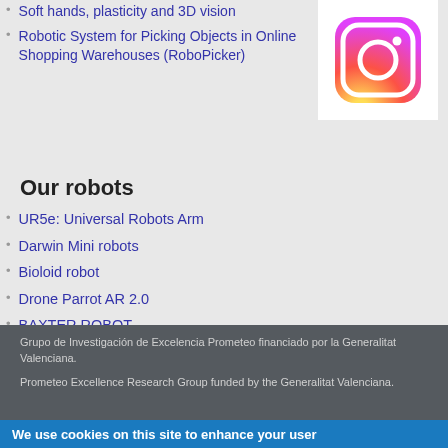Soft hands, plasticity and 3D vision
Robotic System for Picking Objects in Online Shopping Warehouses (RoboPicker)
[Figure (logo): Instagram app logo icon]
Our robots
UR5e: Universal Robots Arm
Darwin Mini robots
Bioloid robot
Drone Parrot AR 2.0
BAXTER ROBOT
Grupo de Investigación de Excelencia Prometeo financiado por la Generalitat Valenciana.
Prometeo Excellence Research Group funded by the Generalitat Valenciana.
We use cookies on this site to enhance your user